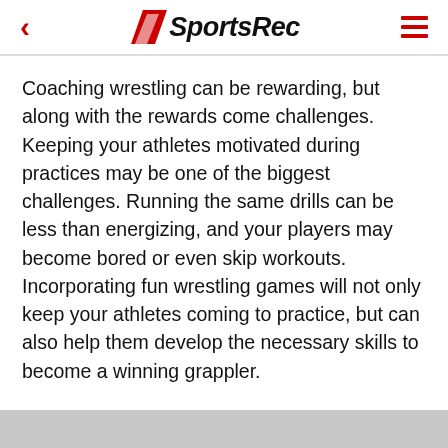SportsRec
Coaching wrestling can be rewarding, but along with the rewards come challenges. Keeping your athletes motivated during practices may be one of the biggest challenges. Running the same drills can be less than energizing, and your players may become bored or even skip workouts. Incorporating fun wrestling games will not only keep your athletes coming to practice, but can also help them develop the necessary skills to become a winning grappler.